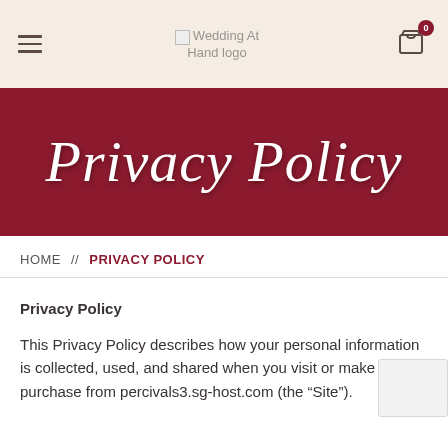Wedding At Hand logo  [hamburger menu]  [cart 0]
Privacy Policy
HOME  //  PRIVACY POLICY
Privacy Policy
This Privacy Policy describes how your personal information is collected, used, and shared when you visit or make a purchase from percivals3.sg-host.com (the “Site”).